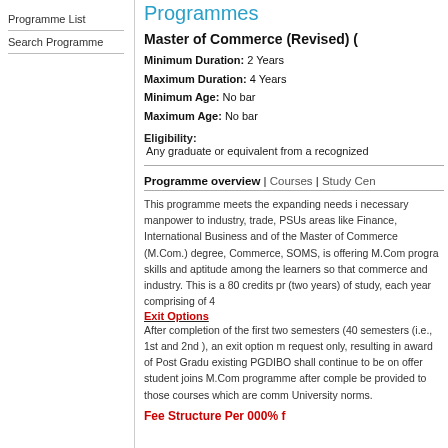Programme List
Search Programme
Programmes
Master of Commerce (Revised) (
Minimum Duration: 2 Years
Maximum Duration: 4 Years
Minimum Age: No bar
Maximum Age: No bar
Eligibility:
 Any graduate or equivalent from a recognized
Programme overview | Courses | Study Cen
This programme meets the expanding needs i necessary manpower to industry, trade, PSUs areas like Finance, International Business and of the Master of Commerce (M.Com.) degree, Commerce, SOMS, is offering M.Com progra skills and aptitude among the learners so that commerce and industry. This is a 80 credits pr (two years) of study, each year comprising of 4
Exit Options
After completion of the first two semesters (40 semesters (i.e., 1st and 2nd ), an exit option m request only, resulting in award of Post Gradu existing PGDIBO shall continue to be on offer student joins M.Com programme after comple be provided to those courses which are comm University norms.
Fee Structure Per 000% f